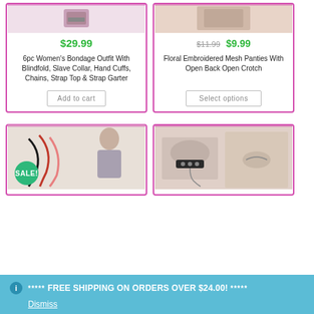[Figure (photo): Product image of women's bondage outfit]
$29.99
6pc Women's Bondage Outfit With Blindfold, Slave Collar, Hand Cuffs, Chains, Strap Top & Strap Garter
Add to cart
[Figure (photo): Product image of floral embroidered mesh panties]
$11.99 $9.99
Floral Embroidered Mesh Panties With Open Back Open Crotch
Select options
[Figure (photo): Product image of whips/floggers with SALE badge]
[Figure (photo): Product image of collar and nipple clamps]
***** FREE SHIPPING ON ORDERS OVER $24.00! *****
Dismiss